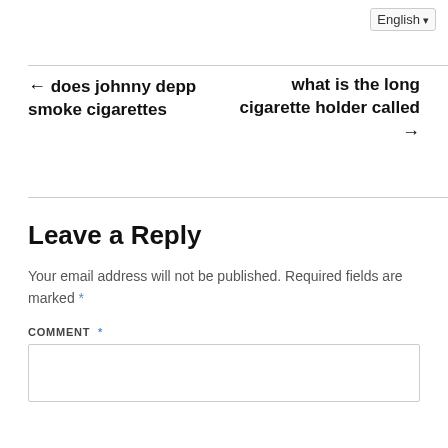English
← does johnny depp smoke cigarettes
what is the long cigarette holder called →
Leave a Reply
Your email address will not be published. Required fields are marked *
COMMENT *